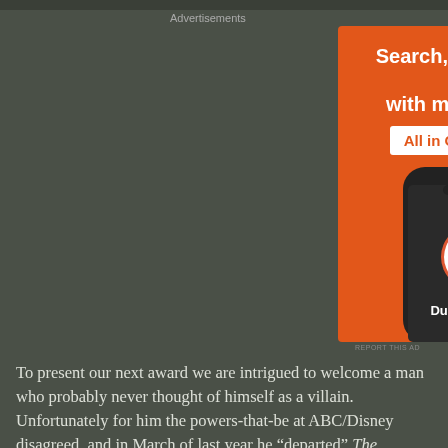Advertisements
[Figure (infographic): DuckDuckGo advertisement showing an orange background with white bold text 'Search, browse, and email with more privacy.' and a white button reading 'All in One Free App', with a phone mockup displaying the DuckDuckGo logo and name.]
REPORT THIS AD
To present our next award we are intrigued to welcome a man who probably never thought of himself as a villain. Unfortunately for him the powers-that-be at ABC/Disney disagreed, and in March of last year he “departed” The Bachelor (and its spinoffs) after nearly two decades. His crime?? Suggesting mercy & grace be extended to a young